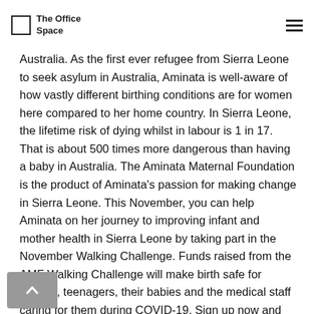The Office Space
Australia. As the first ever refugee from Sierra Leone to seek asylum in Australia, Aminata is well-aware of how vastly different birthing conditions are for women here compared to her home country. In Sierra Leone, the lifetime risk of dying whilst in labour is 1 in 17.  That is about 500 times more dangerous than having a baby in Australia. The Aminata Maternal Foundation is the product of Aminata's passion for making change in Sierra Leone. This November, you can help Aminata on her journey to improving infant and mother health in Sierra Leone by taking part in the November Walking Challenge. Funds raised from the AMF Walking Challenge will make birth safe for women, teenagers, their babies and the medical staff caring for them during COVID-19. Sign up now and commit to walking 89.6kms over two weeks.